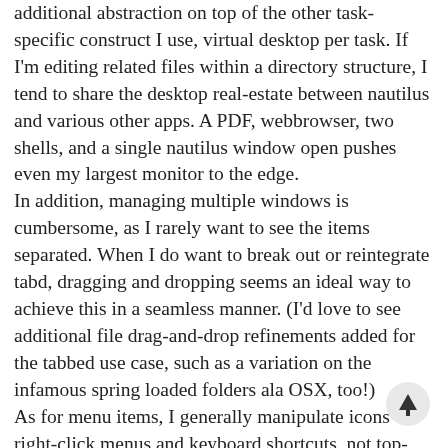additional abstraction on top of the other task-specific construct I use, virtual desktop per task. If I'm editing related files within a directory structure, I tend to share the desktop real-estate between nautilus and various other apps. A PDF, webbrowser, two shells, and a single nautilus window open pushes even my largest monitor to the edge. In addition, managing multiple windows is cumbersome, as I rarely want to see the items separated. When I do want to break out or reintegrate tabd, dragging and dropping seems an ideal way to achieve this in a seamless manner. (I'd love to see additional file drag-and-drop refinements added for the tabbed use case, such as a variation on the infamous spring loaded folders ala OSX, too!) As for menu items, I generally manipulate icons right-click menus and keyboard shortcuts, not top-